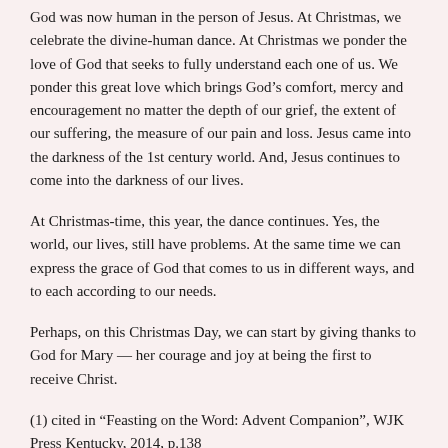God was now human in the person of Jesus. At Christmas, we celebrate the divine-human dance. At Christmas we ponder the love of God that seeks to fully understand each one of us. We ponder this great love which brings God's comfort, mercy and encouragement no matter the depth of our grief, the extent of our suffering, the measure of our pain and loss. Jesus came into the darkness of the 1st century world. And, Jesus continues to come into the darkness of our lives.
At Christmas-time, this year, the dance continues. Yes, the world, our lives, still have problems. At the same time we can express the grace of God that comes to us in different ways, and to each according to our needs.
Perhaps, on this Christmas Day, we can start by giving thanks to God for Mary — her courage and joy at being the first to receive Christ.
(1) cited in “Feasting on the Word: Advent Companion”, WJK Press Kentucky, 2014, p.138